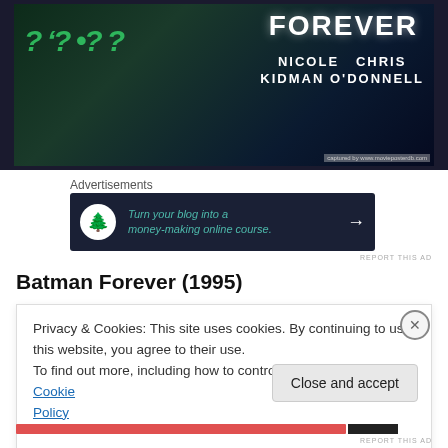[Figure (photo): Batman Forever (1995) movie poster showing dark blue-green background with question mark imagery, text 'FOREVER', actors Nicole Kidman and Chris O'Donnell credited]
Advertisements
[Figure (infographic): Dark advertisement banner: 'Turn your blog into a money-making online course.' with tree icon and arrow]
REPORT THIS AD
Batman Forever (1995)
Privacy & Cookies: This site uses cookies. By continuing to use this website, you agree to their use.
To find out more, including how to control cookies, see here: Cookie Policy
Close and accept